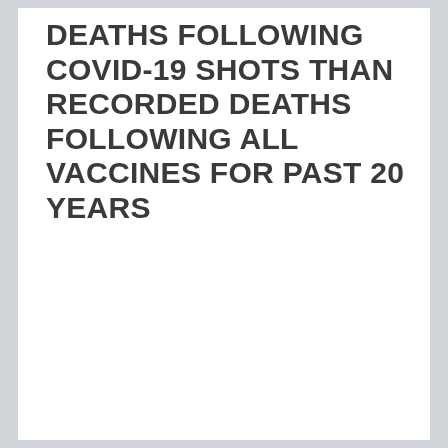DEATHS FOLLOWING COVID-19 SHOTS THAN RECORDED DEATHS FOLLOWING ALL VACCINES FOR PAST 20 YEARS